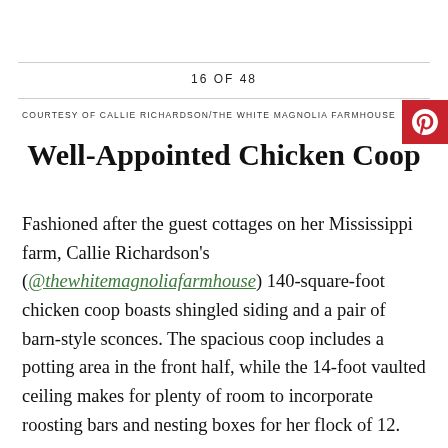16 OF 48
COURTESY OF CALLIE RICHARDSON/THE WHITE MAGNOLIA FARMHOUSE
Well-Appointed Chicken Coop
Fashioned after the guest cottages on her Mississippi farm, Callie Richardson's (@thewhitemagnoliafarmhouse) 140-square-foot chicken coop boasts shingled siding and a pair of barn-style sconces. The spacious coop includes a potting area in the front half, while the 14-foot vaulted ceiling makes for plenty of room to incorporate roosting bars and nesting boxes for her flock of 12.